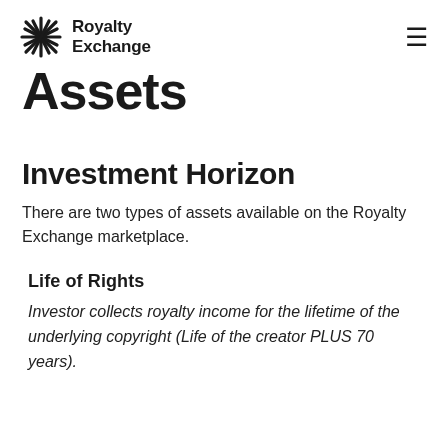[Figure (logo): Royalty Exchange logo with woven asterisk/star icon and bold text 'Royalty Exchange']
Assets
Investment Horizon
There are two types of assets available on the Royalty Exchange marketplace.
Life of Rights
Investor collects royalty income for the lifetime of the underlying copyright (Life of the creator PLUS 70 years).